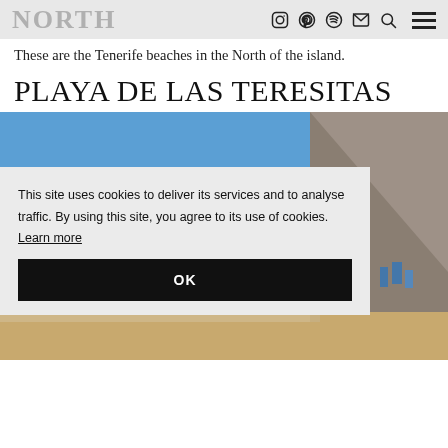NORTH — icons: instagram, pinterest, spotify, email, search, hamburger menu
These are the Tenerife beaches in the North of the island.
PLAYA DE LAS TERESITAS
[Figure (photo): Beach photo of Playa de las Teresitas with blue sky, mountain, and sandy beach. A cookie consent overlay dialog appears on top reading: 'This site uses cookies to deliver its services and to analyse traffic. By using this site, you agree to its use of cookies. Learn more' with an OK button.]
This site uses cookies to deliver its services and to analyse traffic. By using this site, you agree to its use of cookies. Learn more